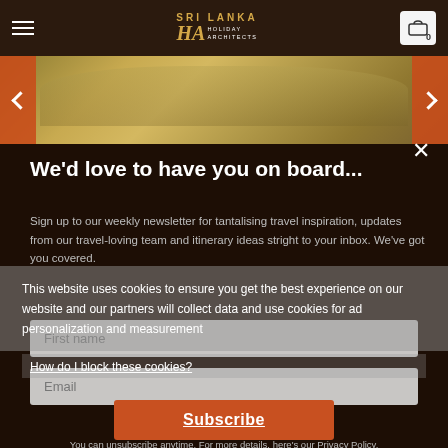[Figure (screenshot): Sri Lanka Holiday Architects website header with logo, hamburger menu, and cart icon]
[Figure (photo): Hero image strip showing a thatched roof building with orange navigation arrows on sides]
We'd love to have you on board...
Sign up to our weekly newsletter for tantalising travel inspiration, updates from our travel-loving team and itinerary ideas stright to your inbox. We've got you covered.
This website uses cookies to ensure you get the best experience on our website and our partners will collect data and use cookies for ad personalization and measurement
How do I block these cookies?
First name
Email
Subscribe
You can unsubscribe anytime. For more details, here's our Privacy Policy.